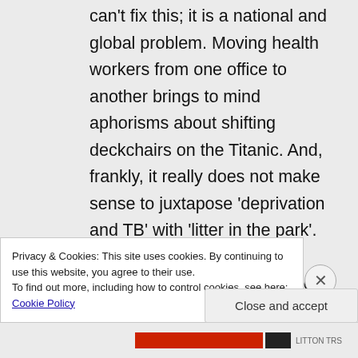can't fix this; it is a national and global problem. Moving health workers from one office to another brings to mind aphorisms about shifting deckchairs on the Titanic. And, frankly, it really does not make sense to juxtapose 'deprivation and TB' with 'litter in the park'.

If I seem a little over-exercised about this it is because of my certain belief that the only way to
Privacy & Cookies: This site uses cookies. By continuing to use this website, you agree to their use.
To find out more, including how to control cookies, see here: Cookie Policy
Close and accept